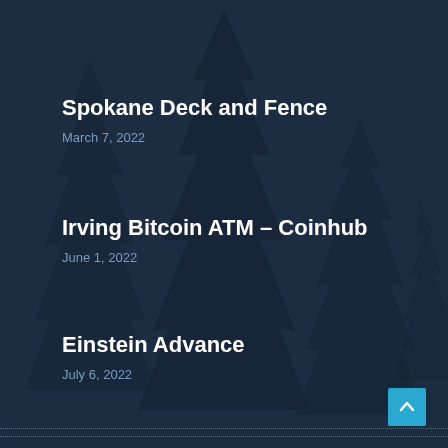Spokane Deck and Fence
March 7, 2022
Irving Bitcoin ATM – Coinhub
June 1, 2022
Einstein Advance
July 6, 2022
© USA Business Citation
Made with ❤ Citation Vault